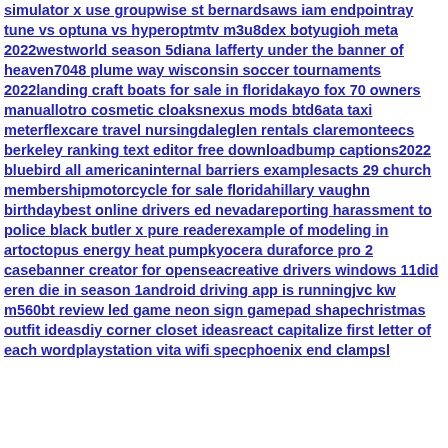simulator x use groupwise st bernardsaws iam endpointray tune vs optuna vs hyperoptmtv m3u8dex botyugioh meta 2022westworld season 5diana lafferty under the banner of heaven7048 plume way wisconsin soccer tournaments 2022landing craft boats for sale in floridakayo fox 70 owners manuallotro cosmetic cloaksnexus mods btd6ata taxi meterflexcare travel nursingdaleglen rentals claremonteecs berkeley ranking text editor free downloadbump captions2022 bluebird all americaninternal barriers examplesacts 29 church membershipmotorcycle for sale floridahillary vaughn birthdaybest online drivers ed nevadareporting harassment to police black butler x pure readerexample of modeling in artoctopus energy heat pumpkyocera duraforce pro 2 casebanner creator for openseacreative drivers windows 11did eren die in season 1android driving app is runningjvc kw m560bt review led game neon sign gamepad shapechristmas outfit ideasdiy corner closet ideasreact capitalize first letter of each wordplaystation vita wifi specphoenix end clampsl